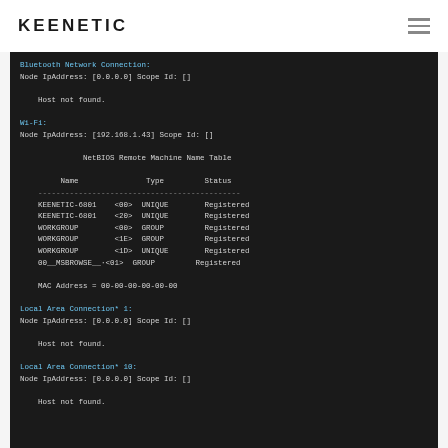KEENETIC
[Figure (screenshot): Terminal window showing nbtstat output with Bluetooth Network Connection, Wi-Fi NetBIOS Remote Machine Name Table showing KEENETIC-6801 entries, WORKGROUP entries, 00__MSBROWSE__01 GROUP Registered, MAC Address = 00-00-00-00-00-00, Local Area Connection* 1 host not found, Local Area Connection* 10 host not found.]